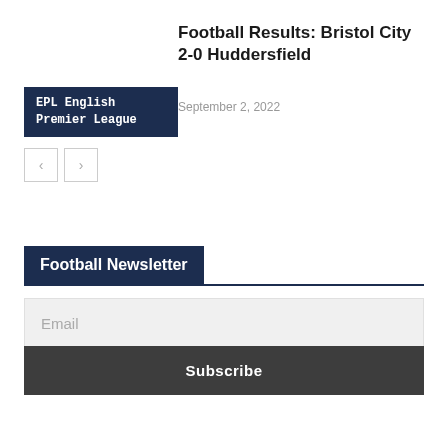Football Results: Bristol City 2-0 Huddersfield
September 2, 2022
EPL English Premier League
[Figure (other): Navigation arrows: left arrow button and right arrow button]
Football Newsletter
Email
Subscribe